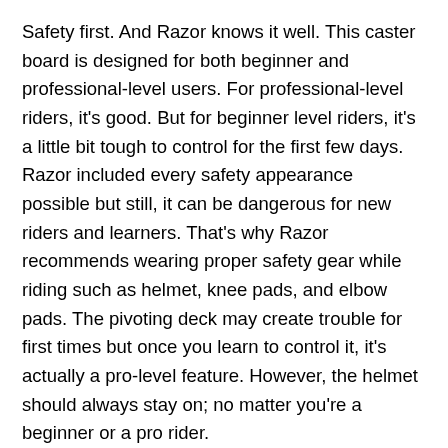Safety first. And Razor knows it well. This caster board is designed for both beginner and professional-level users. For professional-level riders, it's good. But for beginner level riders, it's a little bit tough to control for the first few days. Razor included every safety appearance possible but still, it can be dangerous for new riders and learners. That's why Razor recommends wearing proper safety gear while riding such as helmet, knee pads, and elbow pads. The pivoting deck may create trouble for first times but once you learn to control it, it's actually a pro-level feature. However, the helmet should always stay on; no matter you're a beginner or a pro rider.
10. Other Features
The Razor RipStik caster boards are new to the market